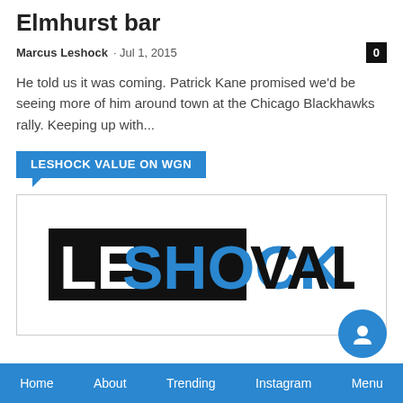Elmhurst bar
Marcus Leshock · Jul 1, 2015
He told us it was coming. Patrick Kane promised we'd be seeing more of him around town at the Chicago Blackhawks rally. Keeping up with...
LESHOCK VALUE ON WGN
[Figure (logo): LeShockValue logo: LE in white on black background box, SHOCK in blue on black background box, VALUE in black text]
Home   About   Trending   Instagram   Menu